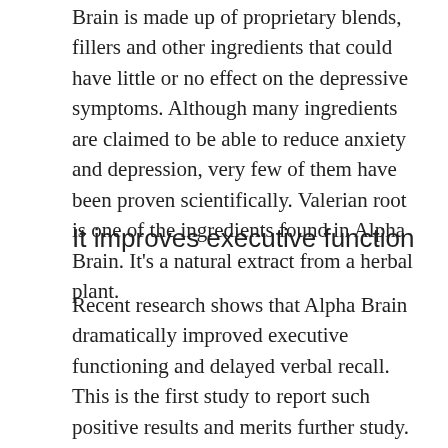Brain is made up of proprietary blends, fillers and other ingredients that could have little or no effect on the depressive symptoms. Although many ingredients are claimed to be able to reduce anxiety and depression, very few of them have been proven scientifically. Valerian root is one of the ingredients found in Alpha Brain. It's a natural extract from a herbal plant.
It improves executive function
Recent research shows that Alpha Brain dramatically improved executive functioning and delayed verbal recall. This is the first study to report such positive results and merits further study. It remains to be determined if Alpha Brain is both safe and efficient. These are just a few of the potential advantages and drawbacks to